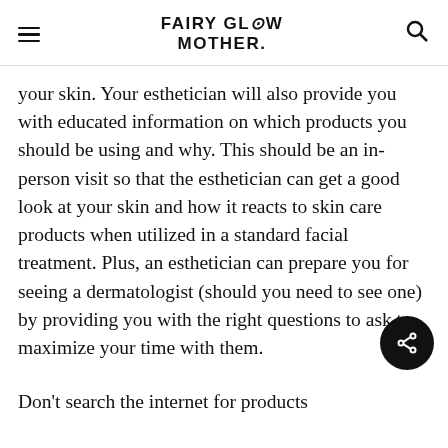FAIRY GLOW MOTHER.
your skin. Your esthetician will also provide you with educated information on which products you should be using and why. This should be an in-person visit so that the esthetician can get a good look at your skin and how it reacts to skin care products when utilized in a standard facial treatment. Plus, an esthetician can prepare you for seeing a dermatologist (should you need to see one) by providing you with the right questions to ask to maximize your time with them.
Don't search the internet for products